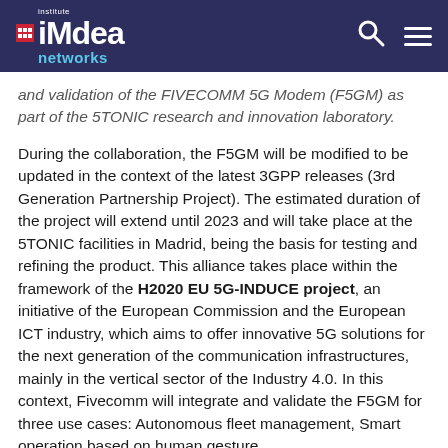IMDEA Networks
and validation of the FIVECOMM 5G Modem (F5GM) as part of the 5TONIC research and innovation laboratory.
During the collaboration, the F5GM will be modified to be updated in the context of the latest 3GPP releases (3rd Generation Partnership Project). The estimated duration of the project will extend until 2023 and will take place at the 5TONIC facilities in Madrid, being the basis for testing and refining the product. This alliance takes place within the framework of the H2020 EU 5G-INDUCE project, an initiative of the European Commission and the European ICT industry, which aims to offer innovative 5G solutions for the next generation of the communication infrastructures, mainly in the vertical sector of the Industry 4.0. In this context, Fivecomm will integrate and validate the F5GM for three use cases: Autonomous fleet management, Smart operation based on human gesture